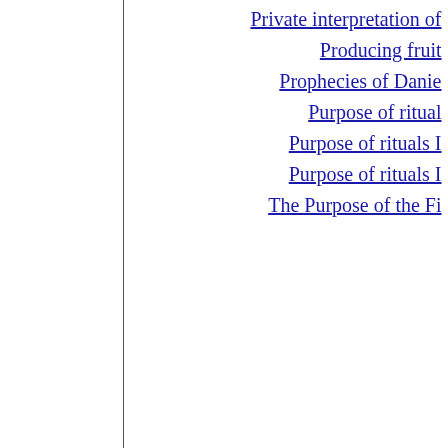| Letter | Links |
| --- | --- |
| P (continued) | Private interpretation of
Producing fruit
Prophecies of Danie
Purpose of ritual
Purpose of rituals I
Purpose of rituals I
The Purpose of the Fi |
| Q |  |
| R | Reading Revelation 1
Rebekah's twins
The rebirth
Redemption |